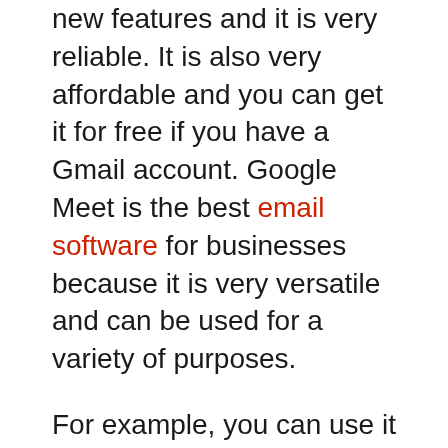new features and it is very reliable. It is also very affordable and you can get it for free if you have a Gmail account. Google Meet is the best email software for businesses because it is very versatile and can be used for a variety of purposes.
For example, you can use it to schedule meetings, send out invoices, or even create a contact list. You can also use Google Meet to create a group chat so that you can collaborate with other people on projects.
Google Meet is the best email software because it is very user-friendly and it has a lot of features that are useful for businesses.